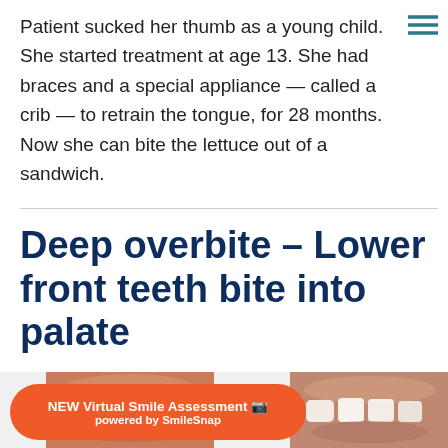Patient sucked her thumb as a young child. She started treatment at age 13. She had braces and a special appliance — called a crib — to retrain the tongue, for 28 months. Now she can bite the lettuce out of a sandwich.
Deep overbite – Lower front teeth bite into palate
[Figure (photo): Two dental photos showing deep overbite — lower front teeth biting into palate, before and after views]
NEW Virtual Smile Assessment powered by SmileSnap